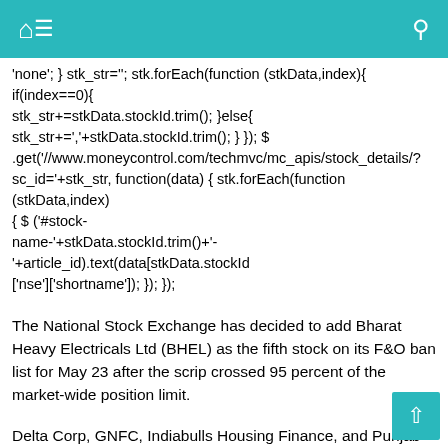[navigation bar with home, menu, and search icons]
'none'; } stk_str=''; stk.forEach(function (stkData,index){ if(index==0){ stk_str+=stkData.stockId.trim(); }else{ stk_str+=','+stkData.stockId.trim(); } }); $.get('//www.moneycontrol.com/techmvc/mc_apis/stock_details/?sc_id='+stk_str, function(data) { stk.forEach(function (stkData,index) { $ ('#stock-name-'+stkData.stockId.trim()+'-'+article_id).text(data[stkData.stockId]['nse']['shortname']); }); });
The National Stock Exchange has decided to add Bharat Heavy Electricals Ltd (BHEL) as the fifth stock on its F&O ban list for May 23 after the scrip crossed 95 percent of the market-wide position limit.
Delta Corp, GNFC, Indiabulls Housing Finance, and Punjab National Bank are already on the list. GNFC and Delta Corp were amongst the top five stocks that saw huge short covering on last Friday.